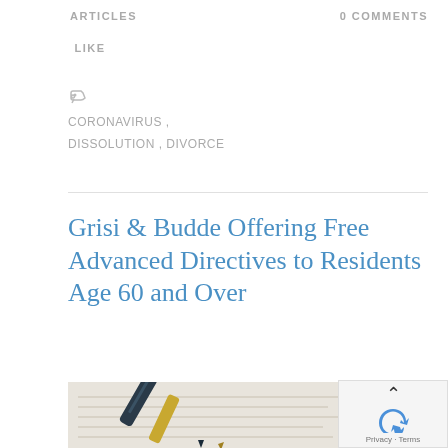ARTICLES    0 COMMENTS
LIKE
CORONAVIRUS , DISSOLUTION , DIVORCE
Grisi & Budde Offering Free Advanced Directives to Residents Age 60 and Over
[Figure (photo): Close-up photo of two pens (one dark blue, one gold-tipped) resting on a document with text, suggesting a legal signing document.]